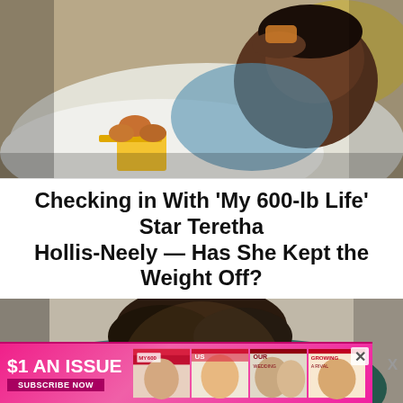[Figure (photo): A large woman lying in bed eating fried chicken from a box, wearing a blue floral top and covered with a white blanket, with yellow food packaging visible]
Checking in With 'My 600-lb Life' Star Teretha Hollis-Neely — Has She Kept the Weight Off?
[Figure (photo): A person with short dark hair lying against a teal/green pillow, looking at the camera]
[Figure (advertisement): $1 AN ISSUE advertisement with subscribe now button and magazine cover images]